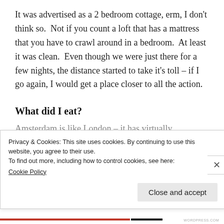It was advertised as a 2 bedroom cottage, erm, I don't think so. Not if you count a loft that has a mattress that you have to crawl around in a bedroom. At least it was clean. Even though we were just there for a few nights, the distance started to take it's toll – if I go again, I would get a place closer to all the action.
What did I eat?
Amsterdam is like London – it has virtually
Privacy & Cookies: This site uses cookies. By continuing to use this website, you agree to their use.
To find out more, including how to control cookies, see here:
Cookie Policy